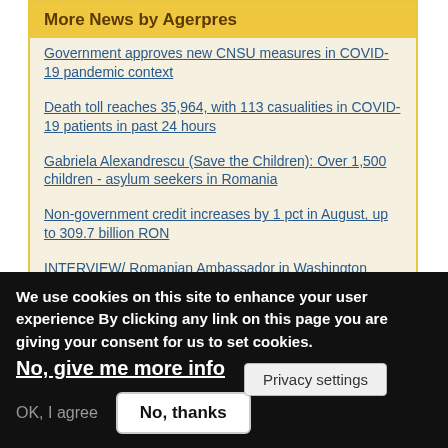More News by Agerpres
Government approves new CNSU measures in COVID-19 pandemic context
Death toll reaches 35,964, with 113 casualities in COVID-19 patients in past 24 hours
Gabriela Alexandrescu (Save the Children): Over 1,500 children - asylum seekers in Romania
Non-government credit increases by 1 pct in August, up to 309.7 billion RON
INTERVIEW/ Romanian Ambassador in Washington assures US investors that Gov't in Bucharest, functional, there is no legislative instability
Prosecutors seize documents from City Insurance
In last week, 35.5 pc - in Bucharest and counties
Privacy settings
We use cookies on this site to enhance your user experience By clicking any link on this page you are giving your consent for us to set cookies. No, give me more info
OK, I agree
No, thanks